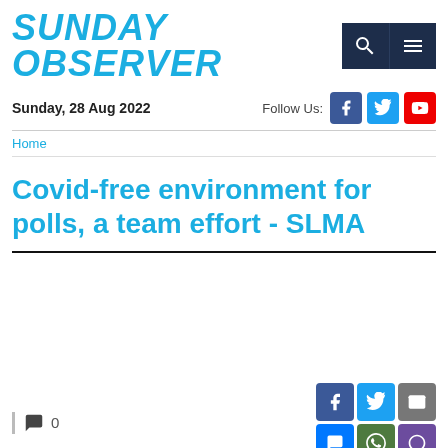SUNDAY OBSERVER
Sunday, 28 Aug 2022
Follow Us:
Home
Covid-free environment for polls, a team effort - SLMA
0
BY CAROL ALOYSIUS